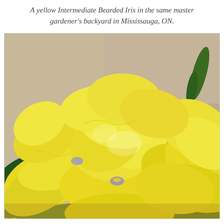A yellow Intermediate Bearded Iris in the same master gardener's backyard in Mississauga, ON.
[Figure (photo): Close-up photograph of bright yellow Intermediate Bearded Iris flowers in full bloom, filling the frame. Multiple blooms with ruffled petals are visible, some showing light blue/lavender beard markings at the center. Green foliage and a blurred beige/gray background are visible.]